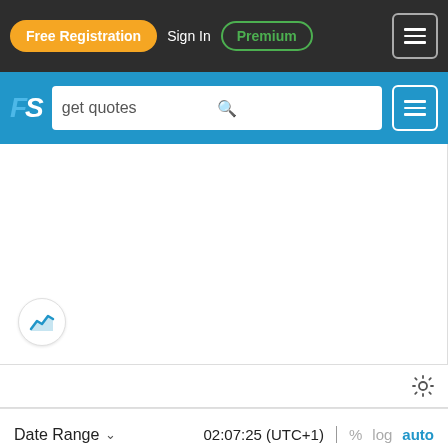[Figure (screenshot): Top navigation bar with Free Registration button (orange), Sign In text, Premium button (green outline), and hamburger menu button on dark background]
[Figure (screenshot): Blue search bar with FS logo and search field containing 'get quotes' with magnifying glass icon and hamburger menu]
[Figure (screenshot): Empty white chart area with a small circle icon containing a blue chart/area-chart icon in bottom-left]
[Figure (screenshot): Settings row with gear icon on right]
Date Range ∨   02:07:25 (UTC+1)   %   log   auto